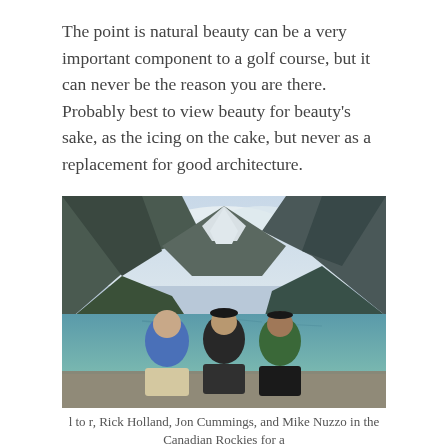The point is natural beauty can be a very important component to a golf course, but it can never be the reason you are there. Probably best to view beauty for beauty's sake, as the icing on the cake, but never as a replacement for good architecture.
[Figure (photo): Three men standing in front of a mountain lake (Lake Louise, Canadian Rockies). Man on left in blue shirt, man in middle in black shirt with cap, man on right in green shirt with cap. Snow-capped mountains and a blue-green lake visible in the background.]
l to r, Rick Holland, Jon Cummings, and Mike Nuzzo in the Canadian Rockies for a